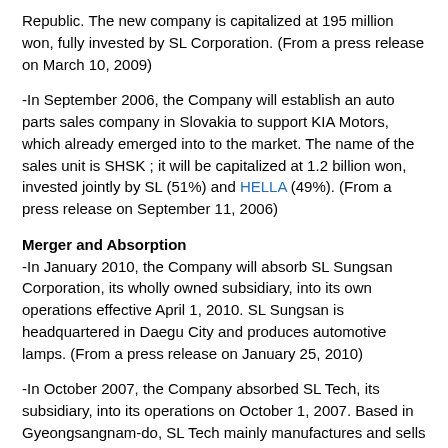Republic. The new company is capitalized at 195 million won, fully invested by SL Corporation. (From a press release on March 10, 2009)
-In September 2006, the Company will establish an auto parts sales company in Slovakia to support KIA Motors, which already emerged into to the market. The name of the sales unit is SHSK ; it will be capitalized at 1.2 billion won, invested jointly by SL (51%) and HELLA (49%). (From a press release on September 11, 2006)
Merger and Absorption
-In January 2010, the Company will absorb SL Sungsan Corporation, its wholly owned subsidiary, into its own operations effective April 1, 2010. SL Sungsan is headquartered in Daegu City and produces automotive lamps. (From a press release on January 25, 2010)
-In October 2007, the Company absorbed SL Tech, its subsidiary, into its operations on October 1, 2007. Based in Gyeongsangnam-do, SL Tech mainly manufactures and sells dies used for producing lamps. (From a press release on October 1, 2007)